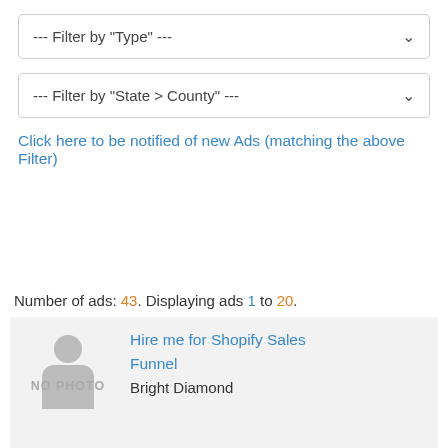--- Filter by "Type" ---
--- Filter by "State > County" ---
Click here to be notified of new Ads (matching the above Filter)
Number of ads: 43. Displaying ads 1 to 20.
[Figure (other): No photo placeholder image with a silhouette of a person]
Hire me for Shopify Sales
Funnel
Bright Diamond
Machine Operator Wanted